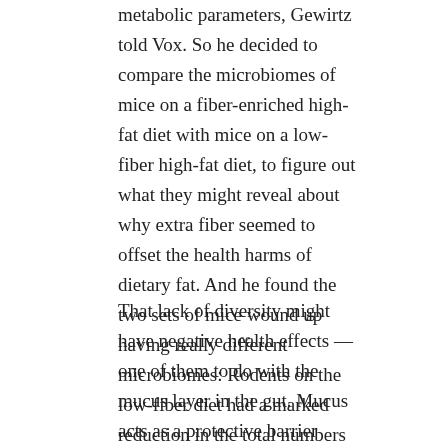metabolic parameters, Gewirtz told Vox. So he decided to compare the microbiomes of mice on a fiber-enriched high-fat diet with mice on a low-fiber high-fat diet, to figure out what they might reveal about why extra fiber seemed to offset the health harms of dietary fat. And he found the two sets of mice wound up having really different microbiomes: Rodents on the low-fiber diet had a marked reduction in the total numbers of bacteria in their gut and a less diverse microbiome compared to the mice on the high-fiber diet.
That lack of diversity might have negative health effects — one of them to do with the mucus layer in the gut. Mucus acts as a protective barrier between us and the outside world. It's constantly being replenished by secretions from the cells